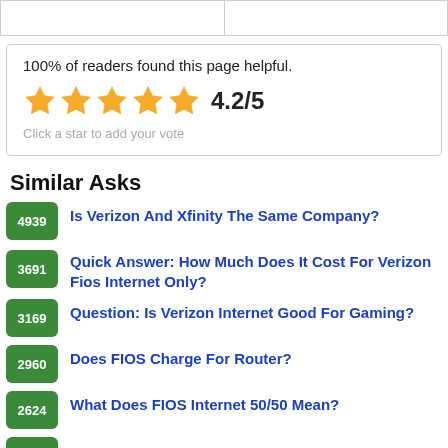|  |
100% of readers found this page helpful.
4.2/5
Click a star to add your vote
Similar Asks
4939  Is Verizon And Xfinity The Same Company?
3691  Quick Answer: How Much Does It Cost For Verizon Fios Internet Only?
3169  Question: Is Verizon Internet Good For Gaming?
2960  Does FIOS Charge For Router?
2624  What Does FIOS Internet 50/50 Mean?
2468  Is Xfinity As Good As Verizon?